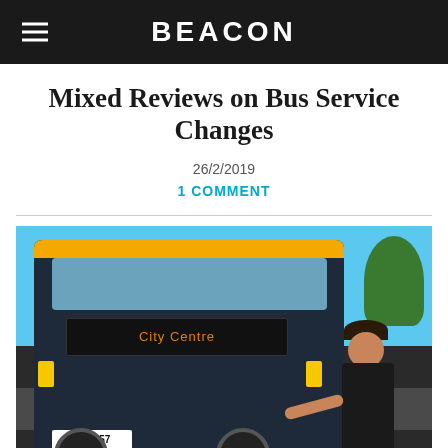BEACON
Mixed Reviews on Bus Service Changes
26/2/2019
1 COMMENT
[Figure (photo): A woman in a black tank top standing in front of a double-decker Metro bus (NB5057) on a sunny day, giving a thumbs up. The bus destination display shows 'City Centre'. Trees visible in background.]